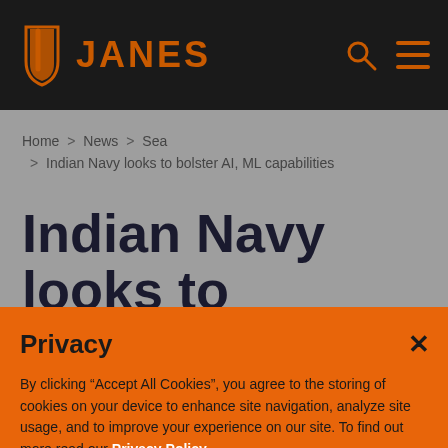JANES
Home > News > Sea > Indian Navy looks to bolster AI, ML capabilities
Indian Navy looks to bolster AI, ML
Privacy
By clicking “Accept All Cookies”, you agree to the storing of cookies on your device to enhance site navigation, analyze site usage, and to improve your experience on our site. To find out more read our Privacy Policy
Cookies Settings
Accept All Cookies